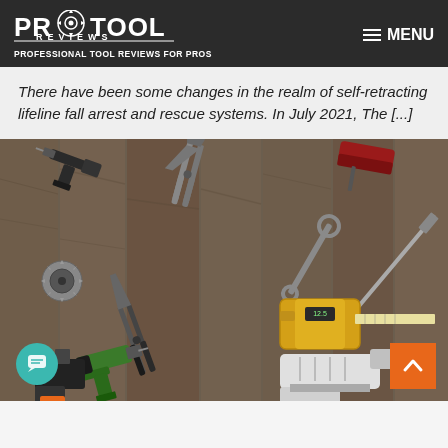PRO TOOL REVIEWS — PROFESSIONAL TOOL REVIEWS FOR PROS | MENU
There have been some changes in the realm of self-retracting lifeline fall arrest and rescue systems. In July 2021, The [...]
[Figure (photo): Flat lay photo of various tools arranged on a wooden surface, including pliers, drills, a tape measure, a jigsaw, a saw blade, and other hand tools.]